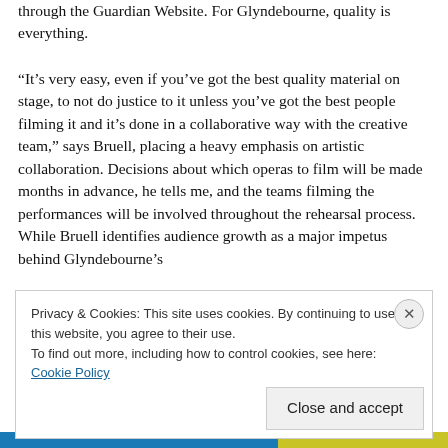through the Guardian Website. For Glyndebourne, quality is everything.
“It’s very easy, even if you’ve got the best quality material on stage, to not do justice to it unless you’ve got the best people filming it and it’s done in a collaborative way with the creative team,” says Bruell, placing a heavy emphasis on artistic collaboration. Decisions about which operas to film will be made months in advance, he tells me, and the teams filming the performances will be involved throughout the rehearsal process. While Bruell identifies audience growth as a major impetus behind Glyndebourne’s
Privacy & Cookies: This site uses cookies. By continuing to use this website, you agree to their use.
To find out more, including how to control cookies, see here: Cookie Policy
Close and accept